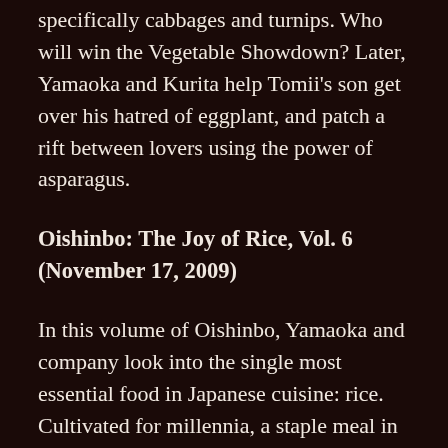specifically cabbages and turnips. Who will win the Vegetable Showdown? Later, Yamaoka and Kurita help Tomii's son get over his hatred of eggplant, and patch a rift between lovers using the power of asparagus.
Oishinbo: The Joy of Rice, Vol. 6 (November 17, 2009)
In this volume of Oishinbo, Yamaoka and company look into the single most essential food in Japanese cuisine: rice. Cultivated for millennia, a staple meal in itself and the basis of countless other dishes, rice is an important component not only of the Japanese kitchen but also of Japanese culture. When Yamaoka is asked by Tōzai's head chef for help in coming up with a new rice dish, what starts out as a simple culinary request rapidly grows into a disquisition